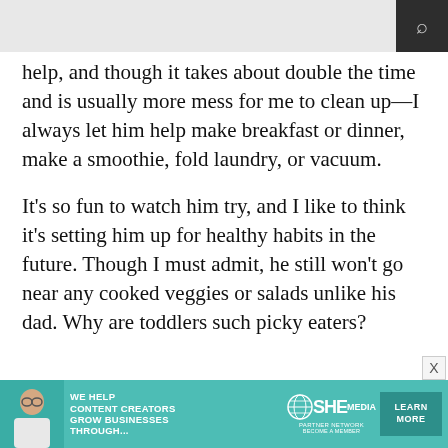help, and though it takes about double the time and is usually more mess for me to clean up—I always let him help make breakfast or dinner, make a smoothie, fold laundry, or vacuum.
It's so fun to watch him try, and I like to think it's setting him up for healthy habits in the future. Though I must admit, he still won't go near any cooked veggies or salads unlike his dad. Why are toddlers such picky eaters?
[Figure (infographic): Advertisement banner for SHE Media Partner Network. Teal/turquoise background with photo of woman, text 'We Help Content Creators Grow Businesses Through...', SHE logo with globe icon, 'Partner Network / Become a Member', and 'Learn More' button.]